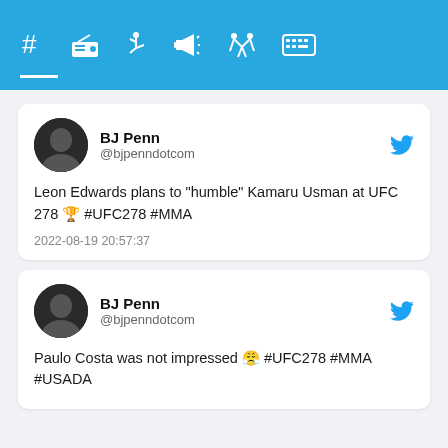# [radio] [martial-arts] [megaphone] [wrestling] [keyboard]
BJ Penn @bjpenndotcom
Leon Edwards plans to "humble" Kamaru Usman at UFC 278 🏆 #UFC278 #MMA
2022-08-19 20:57:37
BJ Penn @bjpenndotcom
Paulo Costa was not impressed 😤 #UFC278 #MMA #USADA